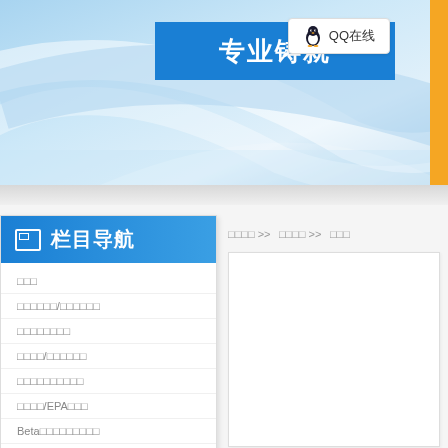[Figure (screenshot): Chinese website header banner with blue gradient background and swoosh curves]
专业铸就
[Figure (logo): QQ online button with penguin icon and text QQ在线]
栏目导航
□□□□ >> □□□□ >> □□□
□□□
□□□□□□/□□□□□□
□□□□□□□□
□□□□/□□□□□□
□□□□□□□□□□
□□□□/EPA□□□
Beta□□□□□□□□□
□□□□□□□□□□